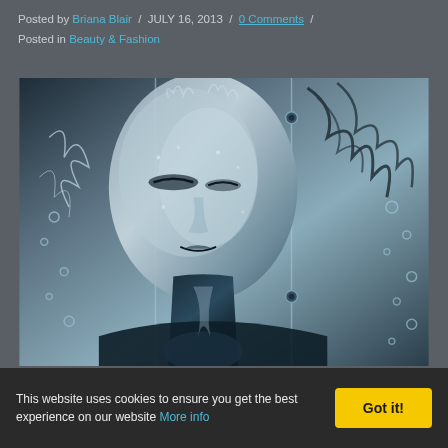Posted by Briana Blair / JULY 16, 2013 / 0 Comments / Posted in Beauty & Fashion
[Figure (photo): Artistic black and white photo of a woman with metallic/crystalline texture on her face and body, with water splashing effects. The image is divided into panels with reflective metallic surfaces.]
This website uses cookies to ensure you get the best experience on our website More info Got it!